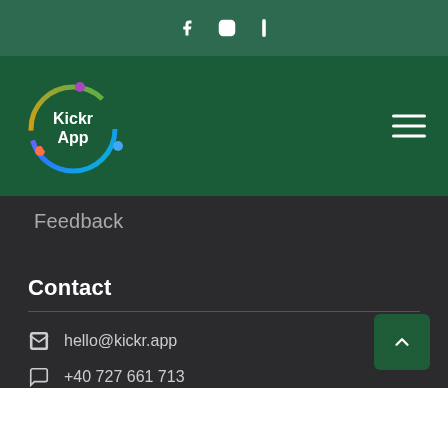Social icons: Facebook, Instagram, TikTok/LinkedIn
[Figure (logo): KickrApp logo - circular rainbow ring with white text 'Kickr App' on dark green background]
Feedback
Contact
hello@kickr.app
+40 727 661 713